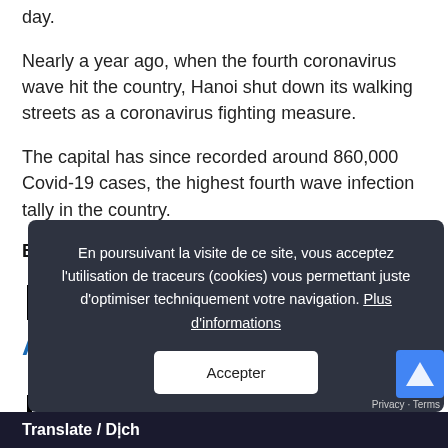day.
Nearly a year ago, when the fourth coronavirus wave hit the country, Hanoi shut down its walking streets as a coronavirus fighting measure.
The capital has since recorded around 860,000 Covid-19 cases, the highest fourth wave infection tally in the country.
By Vo Hai – VnExpress.net – March 15, 2022
[Figure (other): QR code linking to the article on VnExpress.net]
Articles Similaires
En poursuivant la visite de ce site, vous acceptez l'utilisation de traceurs (cookies) vous permettant juste d'optimiser techniquement votre navigation. Plus d'informations
Accepter
Translate / Dịch
Privacy · Terms